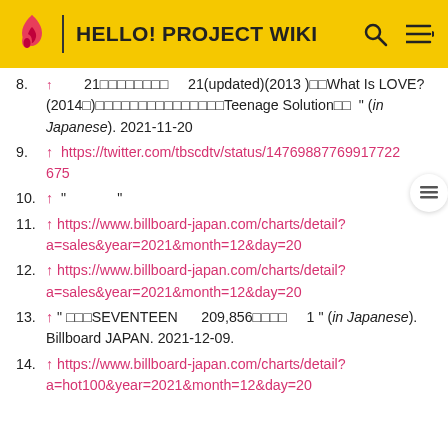HELLO! PROJECT WIKI
8. ↑ 21□□□□□□□□ 21(updated)(2013 )□□What Is LOVE?(2014□)□□□□□□□□□□□□□□□Teenage Solution□□ " (in Japanese). 2021-11-20
9. ↑ https://twitter.com/tbscdtv/status/1476988776991772675
10. ↑ "             "
11. ↑ https://www.billboard-japan.com/charts/detail?a=sales&year=2021&month=12&day=20
12. ↑ https://www.billboard-japan.com/charts/detail?a=sales&year=2021&month=12&day=20
13. ↑ " □□□SEVENTEEN      209,856□□□□     1 " (in Japanese). Billboard JAPAN. 2021-12-09.
14. ↑ https://www.billboard-japan.com/charts/detail?a=hot100&year=2021&month=12&day=20